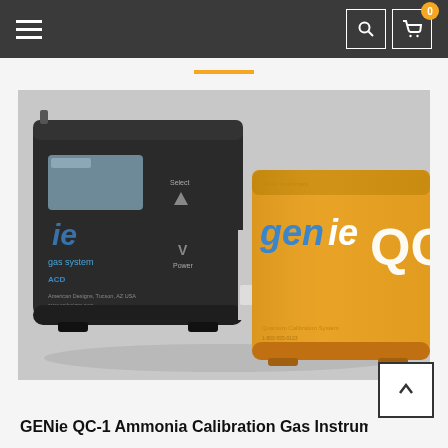Navigation bar with hamburger menu, search icon, and cart (0 items)
[Figure (photo): Two GENie calibration gas instruments side by side. Left: a dark/black box-shaped instrument with a small display screen showing 'ie' branding and 'gas system' text, ACD logo, Tucson AZ label. Right: an orange/yellow unit with blue and white 'genie' logo text and 'QC' text visible on its front panel.]
GENie QC-1 Ammonia Calibration Gas Instrument